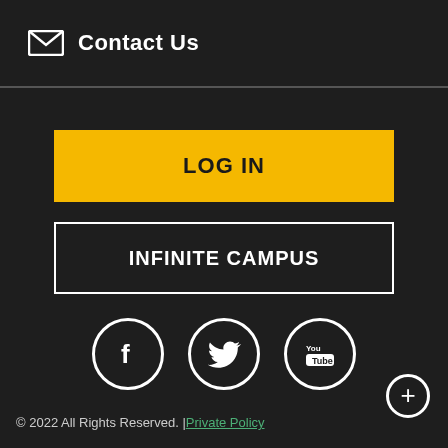Contact Us
LOG IN
INFINITE CAMPUS
[Figure (illustration): Three social media icons in white circles: Facebook (f), Twitter (bird), YouTube (You Tube logo)]
© 2022 All Rights Reserved. | Private Policy